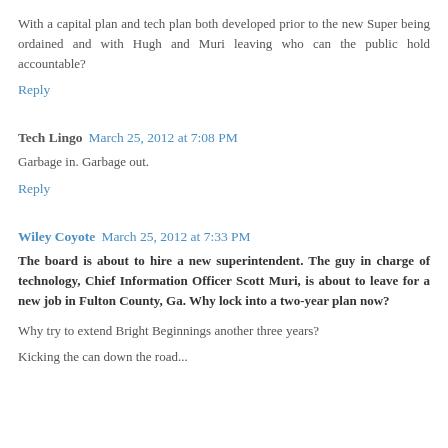With a capital plan and tech plan both developed prior to the new Super being ordained and with Hugh and Muri leaving who can the public hold accountable?
Reply
Tech Lingo  March 25, 2012 at 7:08 PM
Garbage in. Garbage out.
Reply
Wiley Coyote  March 25, 2012 at 7:33 PM
The board is about to hire a new superintendent. The guy in charge of technology, Chief Information Officer Scott Muri, is about to leave for a new job in Fulton County, Ga. Why lock into a two-year plan now?
Why try to extend Bright Beginnings another three years?
Kicking the can down the road...